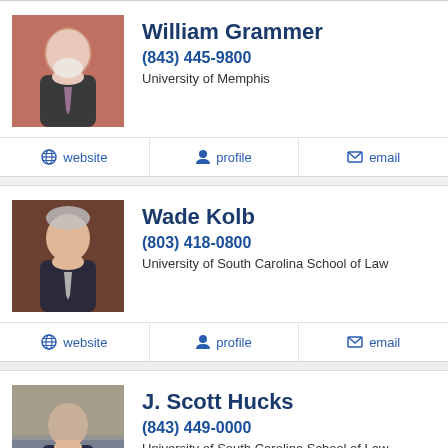[Figure (photo): Headshot of William Grammer, older man with white beard in suit]
William Grammer
(843) 445-9800
University of Memphis
website
profile
email
[Figure (photo): Headshot of Wade Kolb, older man with gray hair in suit]
Wade Kolb
(803) 418-0800
University of South Carolina School of Law
website
profile
email
[Figure (photo): Headshot of J. Scott Hucks, man in suit with red tie in front of building]
J. Scott Hucks
(843) 449-0000
University of South Carolina School of Law